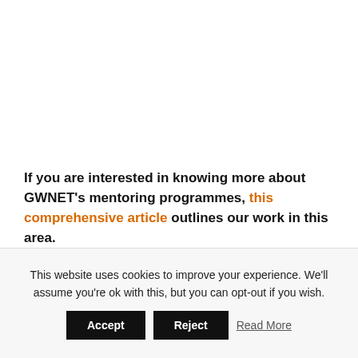If you are interested in knowing more about GWNET's mentoring programmes, this comprehensive article outlines our work in this area.
SHARE THIS
[Figure (infographic): Social sharing icons: heart with 2 likes, Facebook, Twitter, Google+, Pinterest, Email — all in orange]
This website uses cookies to improve your experience. We'll assume you're ok with this, but you can opt-out if you wish.
Accept | Reject | Read More